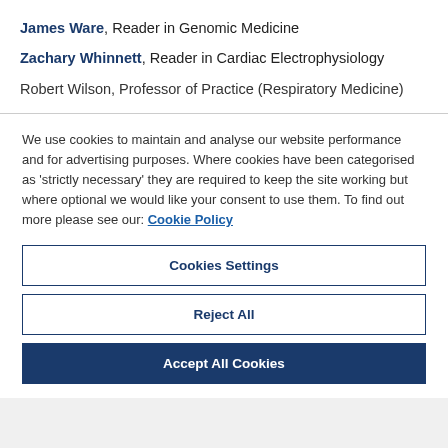James Ware, Reader in Genomic Medicine
Zachary Whinnett, Reader in Cardiac Electrophysiology
Robert Wilson, Professor of Practice (Respiratory Medicine)
We use cookies to maintain and analyse our website performance and for advertising purposes. Where cookies have been categorised as 'strictly necessary' they are required to keep the site working but where optional we would like your consent to use them. To find out more please see our: Cookie Policy
Cookies Settings
Reject All
Accept All Cookies